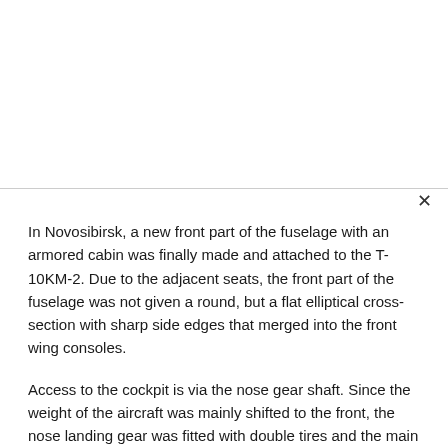In Novosibirsk, a new front part of the fuselage with an armored cabin was finally made and attached to the T-10KM-2. Due to the adjacent seats, the front part of the fuselage was not given a round, but a flat elliptical cross-section with sharp side edges that merged into the front wing consoles.
Access to the cockpit is via the nose gear shaft. Since the weight of the aircraft was mainly shifted to the front, the nose landing gear was fitted with double tires and the main landing gear was designed as a tandem. The air intake ducts, which